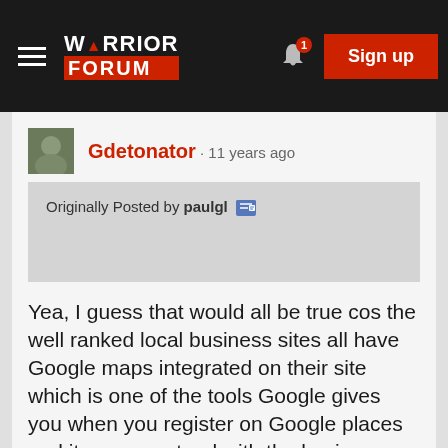Warrior Forum - Sign up
Gdetonator · 11 years ago
Originally Posted by paulgl
Yea, I guess that would all be true cos the well ranked local business sites all have Google maps integrated on their site which is one of the tools Google gives you when you register on Google places and it comes natural with the business address and also